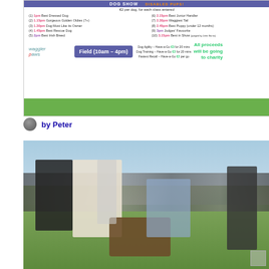[Figure (infographic): Dog show event flyer with schedule of classes, Waggler Paws logo, Field (10am-4pm) badge in purple, activities listing, and 'All proceeds will be going to charity' text on green background.]
by Peter
[Figure (photo): Outdoor dog show event photo showing people and dogs on a grass field with a crowd in the background under a blue sky.]